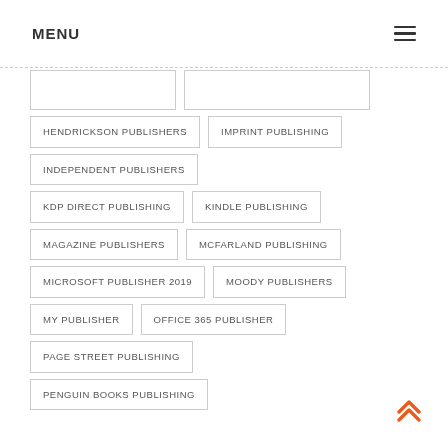MENU
HENDRICKSON PUBLISHERS
IMPRINT PUBLISHING
INDEPENDENT PUBLISHERS
KDP DIRECT PUBLISHING
KINDLE PUBLISHING
MAGAZINE PUBLISHERS
MCFARLAND PUBLISHING
MICROSOFT PUBLISHER 2019
MOODY PUBLISHERS
MY PUBLISHER
OFFICE 365 PUBLISHER
PAGE STREET PUBLISHING
PENGUIN BOOKS PUBLISHING